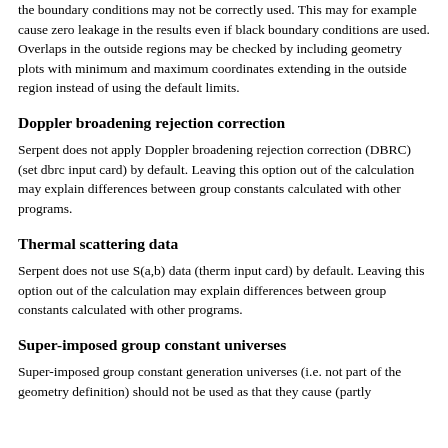the boundary conditions may not be correctly used. This may for example cause zero leakage in the results even if black boundary conditions are used. Overlaps in the outside regions may be checked by including geometry plots with minimum and maximum coordinates extending in the outside region instead of using the default limits.
Doppler broadening rejection correction
Serpent does not apply Doppler broadening rejection correction (DBRC) (set dbrc input card) by default. Leaving this option out of the calculation may explain differences between group constants calculated with other programs.
Thermal scattering data
Serpent does not use S(a,b) data (therm input card) by default. Leaving this option out of the calculation may explain differences between group constants calculated with other programs.
Super-imposed group constant universes
Super-imposed group constant generation universes (i.e. not part of the geometry definition) should not be used as that they cause (partly